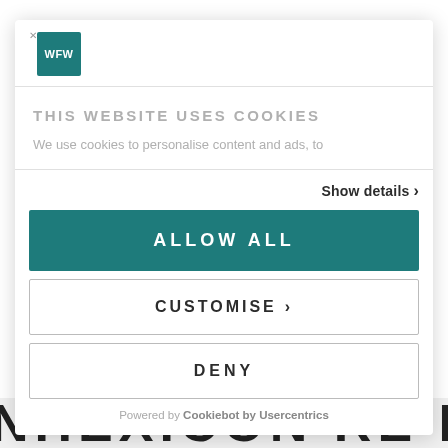[Figure (logo): WFW logo — white letters on teal square background]
THIS WEBSITE USES COOKIES
We use cookies to personalise content and ads, to
Show details >
ALLOW ALL
CUSTOMISE >
DENY
Powered by Cookiebot by Usercentrics
AVENHEXICON RE FIVE